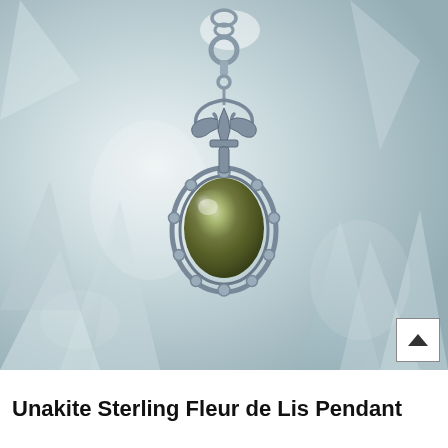[Figure (photo): A sterling silver Fleur de Lis pendant with an oval unakite (dark olive green) cabochon stone set in an ornate bezel with decorative ball accents and scrollwork, hanging from a chain bail. The pendant is photographed against a white/pale grey crystal cluster background.]
Unakite Sterling Fleur de Lis Pendant